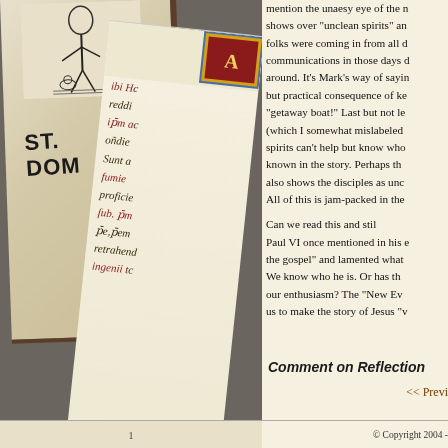[Figure (photo): Left side showing two overlapping pages/books: a book cover labeled 'ST. DOM' (likely St. Dominic) with an illustration of a figure at top, and an illuminated manuscript page with Latin text in alternating black and red ink, rotated at an angle. Background is dark gray/brown.]
mention the unaesy eye of the ... shows over "unclean spirits" ar... folks were coming in from all c... communications in those days ... around.  It's Mark's way of sayi... but practical consequence of ke... "getaway boat!"  Last but not le... (which I somewhat mislabeled ... spirits can't help but know who... known in the story.  Perhaps th... also shows the disciples as unc...  All of this is jam-packed in the...
Can we read this and stil... Paul VI once mentioned in his ... the gospel" and lamented what...  We know who he is.  Or has th... our enthusiasm?  The "New Ev... us to make the story of Jesus "v...
Comment on Reflection
<< Previo...
© Copyright 2004 -